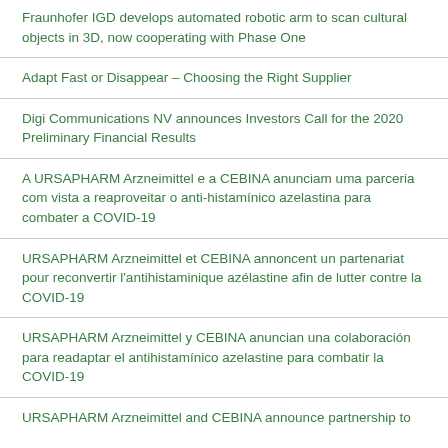Fraunhofer IGD develops automated robotic arm to scan cultural objects in 3D, now cooperating with Phase One
Adapt Fast or Disappear – Choosing the Right Supplier
Digi Communications NV announces Investors Call for the 2020 Preliminary Financial Results
A URSAPHARM Arzneimittel e a CEBINA anunciam uma parceria com vista a reaproveitar o anti-histamínico azelastina para combater a COVID-19
URSAPHARM Arzneimittel et CEBINA annoncent un partenariat pour reconvertir l'antihistaminique azélastine afin de lutter contre la COVID-19
URSAPHARM Arzneimittel y CEBINA anuncian una colaboración para readaptar el antihistamínico azelastine para combatir la COVID-19
URSAPHARM Arzneimittel and CEBINA announce partnership to